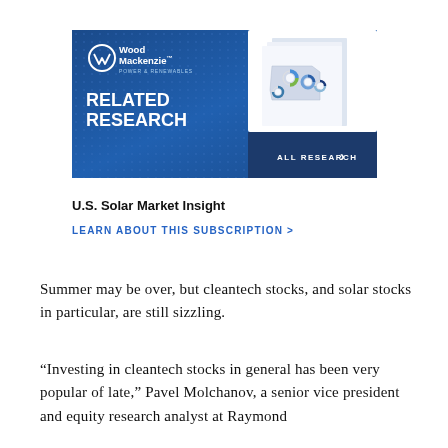[Figure (other): Wood Mackenzie Power & Renewables Related Research advertisement banner with logo, report cover images showing donut charts and a US map, and 'ALL RESEARCH >' call-to-action button]
U.S. Solar Market Insight
LEARN ABOUT THIS SUBSCRIPTION >
Summer may be over, but cleantech stocks, and solar stocks in particular, are still sizzling.
“Investing in cleantech stocks in general has been very popular of late,” Pavel Molchanov, a senior vice president and equity research analyst at Raymond